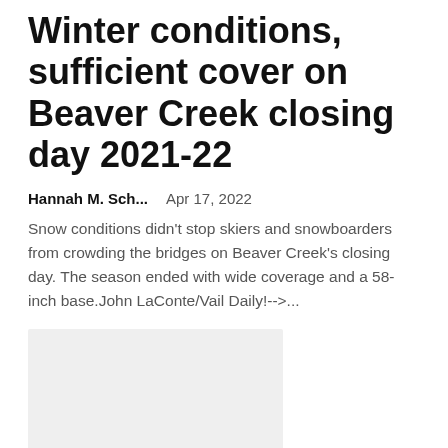Winter conditions, sufficient cover on Beaver Creek closing day 2021-22
Hannah M. Sch...    Apr 17, 2022
Snow conditions didn't stop skiers and snowboarders from crowding the bridges on Beaver Creek's closing day. The season ended with wide coverage and a 58-inch base.John LaConte/Vail Daily!-->...
[Figure (photo): Light gray placeholder image rectangle]
The Grape Day Festival returns